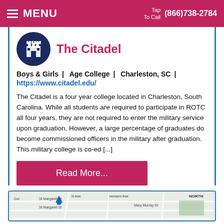MENU  Tap To Call (866)738-2784
[Figure (logo): The Citadel circular logo with castle/building illustration on dark blue background]
The Citadel
Boys & Girls |  Age College |  Charleston, SC |  https://www.citadel.edu/
The Citadel is a four year college located in Charleston, South Carolina. While all students are required to participate in ROTC all four years, they are not required to enter the military service upon graduation. However, a large percentage of graduates do become commissioned officers in the military after graduation. This military college is co-ed [...]
Read More...
[Figure (map): Street map showing area around The Citadel in Charleston, SC with streets including St Margaret St, Mary Murray Dr, N Ave, Gormann Ave; NORTH label visible]